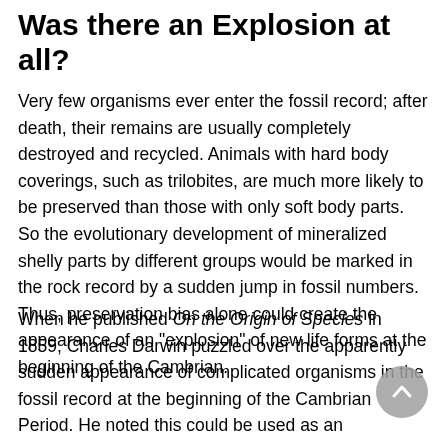Was there an Explosion at all?
Very few organisms ever enter the fossil record; after death, their remains are usually completely destroyed and recycled. Animals with hard body coverings, such as trilobites, are much more likely to be preserved than those with only soft body parts. So the evolutionary development of mineralized shelly parts by different groups would be marked in the rock record by a sudden jump in fossil numbers. Thus, preservation bias alone could create the appearance of an “explosion” of new life forms at the beginning of the Cambrian.
When he published On the Origin of Species in 1859, Charles Darwin puzzled over the apparently sudden appearance of complicated organisms in the fossil record at the beginning of the Cambrian Period. He noted this could be used as an